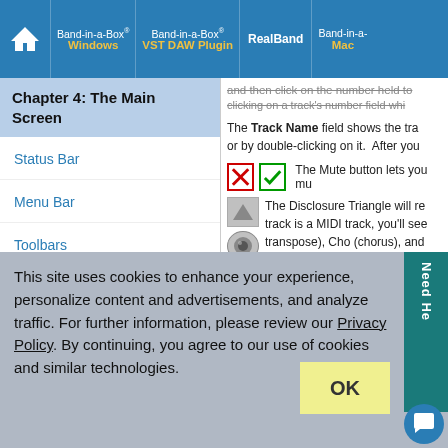Band-in-a-Box® Windows | Band-in-a-Box® VST DAW Plugin | RealBand | Band-in-a-Box® Mac
Chapter 4: The Main Screen
Status Bar
Menu Bar
Toolbars
Windows
and then click on the number held to clicking on a track's number field wh
The Track Name field shows the trac or by double-clicking on it. After you
The Mute button lets you mu
The Disclosure Triangle will re track is a MIDI track, you'll see transpose), Cho (chorus), and
This site uses cookies to enhance your experience, personalize content and advertisements, and analyze traffic. For further information, please review our Privacy Policy. By continuing, you agree to our use of cookies and similar technologies.
OK
Need Help